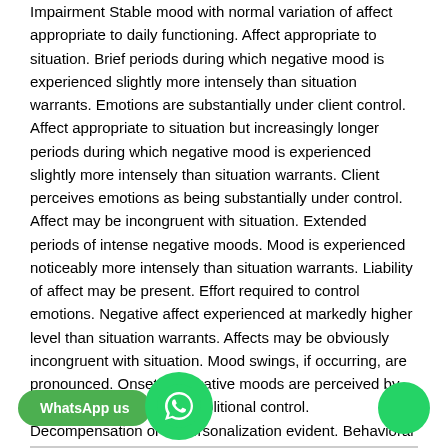Impairment Stable mood with normal variation of affect appropriate to daily functioning. Affect appropriate to situation. Brief periods during which negative mood is experienced slightly more intensely than situation warrants. Emotions are substantially under client control. Affect appropriate to situation but increasingly longer periods during which negative mood is experienced slightly more intensely than situation warrants. Client perceives emotions as being substantially under control. Affect may be incongruent with situation. Extended periods of intense negative moods. Mood is experienced noticeably more intensely than situation warrants. Liability of affect may be present. Effort required to control emotions. Negative affect experienced at markedly higher level than situation warrants. Affects may be obviously incongruent with situation. Mood swings, if occurring, are pronounced. Onset of negative moods are perceived by client as not being under volitional control. Decompensation or depersonalization evident. Behavioral Domain Identify and describe briefly which behavior is currently being used. (If more than one behavior is used, rate with number 1 being primary, number 2 secondary, number 3 tertiary.)